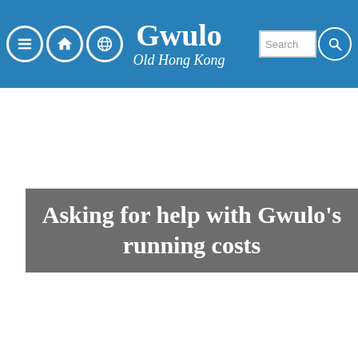Gwulo — Old Hong Kong
Asking for help with Gwulo's running costs
Submitted by David on Sun, 04/17/2016 - 10:00
If you enjoy the Gwulo website and newsletters, please consider making a small contribution towards the monthly running costs.
The short version:
Running Gwulo takes 20-30 hours of my time each week, plus a couple of hundred US$ expenses each month.